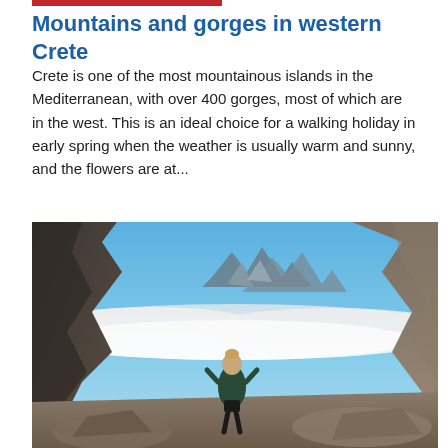Mountains and gorges in western Crete
Crete is one of the most mountainous islands in the Mediterranean, with over 400 gorges, most of which are in the west. This is an ideal choice for a walking holiday in early spring when the weather is usually warm and sunny, and the flowers are at...
[Figure (photo): A hiker standing among rocky mountain peaks above the clouds, looking out over a dramatic mountainous landscape with clouds below the summits, under a blue sky.]